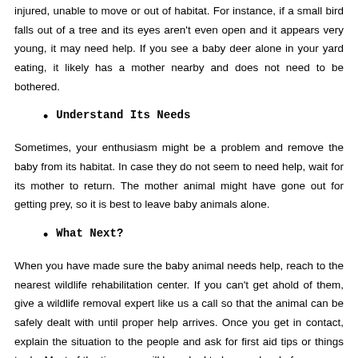injured, unable to move or out of habitat. For instance, if a small bird falls out of a tree and its eyes aren't even open and it appears very young, it may need help. If you see a baby deer alone in your yard eating, it likely has a mother nearby and does not need to be bothered.
Understand Its Needs
Sometimes, your enthusiasm might be a problem and remove the baby from its habitat. In case they do not seem to need help, wait for its mother to return. The mother animal might have gone out for getting prey, so it is best to leave baby animals alone.
What Next?
When you have made sure the baby animal needs help, reach to the nearest wildlife rehabilitation center. If you can't get ahold of them, give a wildlife removal expert like us a call so that the animal can be safely dealt with until proper help arrives. Once you get in contact, explain the situation to the people and ask for first aid tips or things to do. Most of the time you will be asked to leave a bowl of